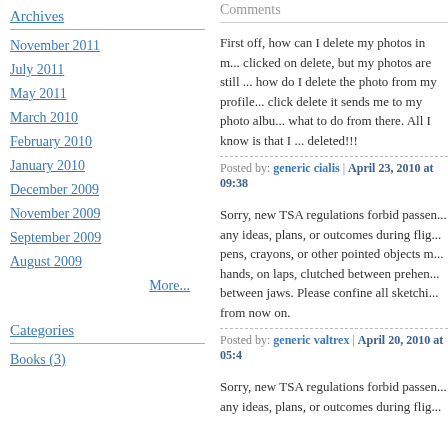Archives
November 2011
July 2011
May 2011
March 2010
February 2010
January 2010
December 2009
November 2009
September 2009
August 2009
More...
Categories
Books (3)
Comments
First off, how can I delete my photos in m... clicked on delete, but my photos are still ... how do I delete the photo from my profile... click delete it sends me to my photo albu... what to do from there. All I know is that I ... deleted!!!
Posted by: generic cialis | April 23, 2010 at 09:38
Sorry, new TSA regulations forbid passen... any ideas, plans, or outcomes during flig... pens, crayons, or other pointed objects m... hands, on laps, clutched between prehen... between jaws. Please confine all sketchi... from now on.
Posted by: generic valtrex | April 20, 2010 at 05:4
Sorry, new TSA regulations forbid passen... any ideas, plans, or outcomes during flig...